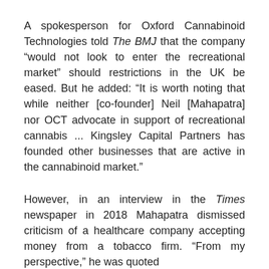A spokesperson for Oxford Cannabinoid Technologies told The BMJ that the company “would not look to enter the recreational market” should restrictions in the UK be eased. But he added: “It is worth noting that while neither [co-founder] Neil [Mahapatra] nor OCT advocate in support of recreational cannabis ... Kingsley Capital Partners has founded other businesses that are active in the cannabinoid market.”
However, in an interview in the Times newspaper in 2018 Mahapatra dismissed criticism of a healthcare company accepting money from a tobacco firm. “From my perspective,” he was quoted